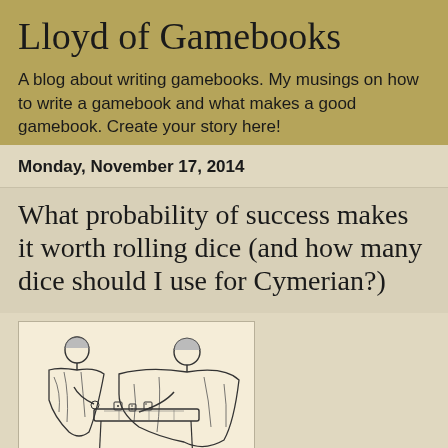Lloyd of Gamebooks
A blog about writing gamebooks. My musings on how to write a gamebook and what makes a good gamebook. Create your story here!
Monday, November 17, 2014
What probability of success makes it worth rolling dice (and how many dice should I use for Cymerian?)
[Figure (illustration): Line drawing illustration of two figures in ancient/classical robes sitting at a table playing a dice game (board game), one figure on each side of the table]